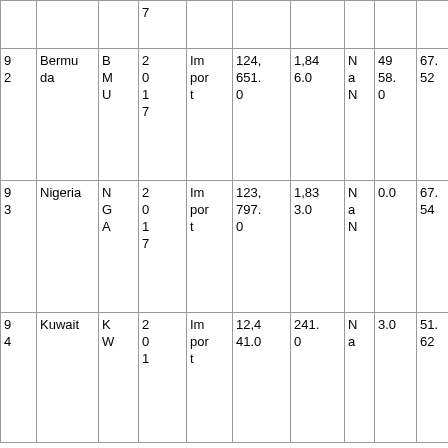|  |  |  | 7 |  |  |  |  |  |  |
| 9
2 | Bermuda | B
M
U | 2
0
1
7 | Im
por
t | 124,
651.
0 | 1,84
6.0 | N
a
N | 49
58.
0 | 67.
52 |
| 9
3 | Nigeria | N
G
A | 2
0
1
7 | Im
por
t | 123,
797.
0 | 1,83
3.0 | N
a
N | 0.0 | 67.
54 |
| 9
4 | Kuwait | K
W | 2
0
1 | Im
por
t | 12,4
41.0 | 241.
0 | N
a | 3.0 | 51.
62 |